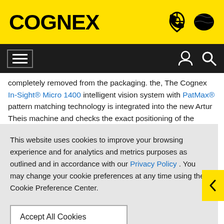COGNEX
completely removed from the packaging. the, The Cognex In-Sight® Micro 1400 intelligent vision system with PatMax® pattern matching technology is integrated into the new Artur Theis machine and checks the exact positioning of the labels.
This website uses cookies to improve your browsing experience and for analytics and metrics purposes as outlined and in accordance with our Privacy Policy . You may change your cookie preferences at any time using the Cookie Preference Center.
Accept All Cookies
Cookie Preference Center